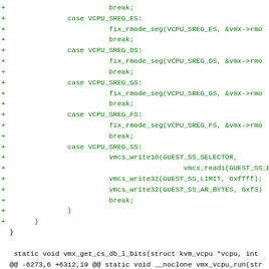[Figure (screenshot): Code diff showing C source code additions for a Linux KVM VMX module, including switch case statements for VCPU segment registers (ES, DS, GS, FS, SS) with fix_rmode_seg and vmcs_write function calls, followed by a static function declaration and a diff hunk header.]